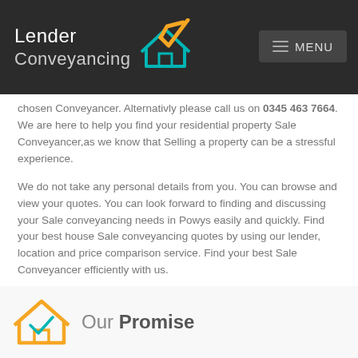[Figure (logo): Lender Conveyancing logo with house icon and orange checkmark, and MENU button on the right]
chosen Conveyancer. Alternativly please call us on 0345 463 7664. We are here to help you find your residential property Sale Conveyancer,as we know that Selling a property can be a stressful experience.
We do not take any personal details from you. You can browse and view your quotes. You can look forward to finding and discussing your Sale conveyancing needs in Powys easily and quickly. Find your best house Sale conveyancing quotes by using our lender, location and price comparison service. Find your best Sale Conveyancer efficiently with us.
Our Promise